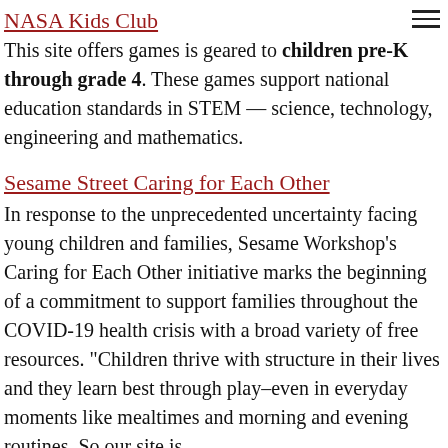NASA Kids Club
This site offers games is geared to children pre-K through grade 4. These games support national education standards in STEM — science, technology, engineering and mathematics.
Sesame Street Caring for Each Other
In response to the unprecedented uncertainty facing young children and families, Sesame Workshop's Caring for Each Other initiative marks the beginning of a commitment to support families throughout the COVID-19 health crisis with a broad variety of free resources. "Children thrive with structure in their lives and they learn best through play–even in everyday moments like mealtimes and morning and evening routines. So our site is